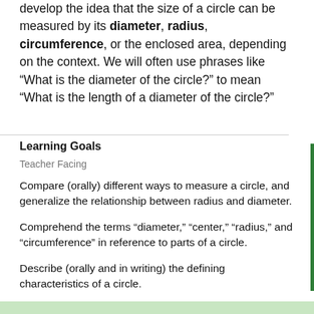develop the idea that the size of a circle can be measured by its diameter, radius, circumference, or the enclosed area, depending on the context. We will often use phrases like “What is the diameter of the circle?” to mean “What is the length of a diameter of the circle?”
Learning Goals
Teacher Facing
Compare (orally) different ways to measure a circle, and generalize the relationship between radius and diameter.
Comprehend the terms “diameter,” “center,” “radius,” and “circumference” in reference to parts of a circle.
Describe (orally and in writing) the defining characteristics of a circle.